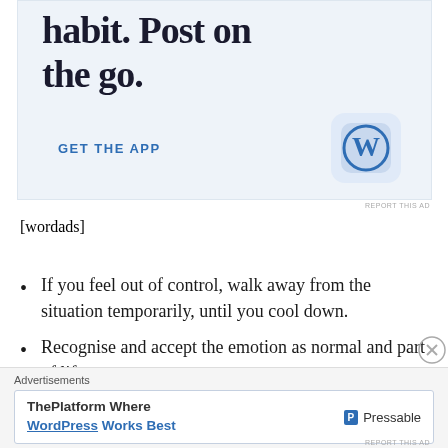[Figure (screenshot): WordPress app advertisement banner showing partial text 'habit. Post on the go.' with 'GET THE APP' link and WordPress icon]
[wordads]
If you feel out of control, walk away from the situation temporarily, until you cool down.
Recognise and accept the emotion as normal and part of life.
[Figure (screenshot): Advertisements bar at bottom showing 'ThePlatform Where WordPress Works Best' and Pressable logo]